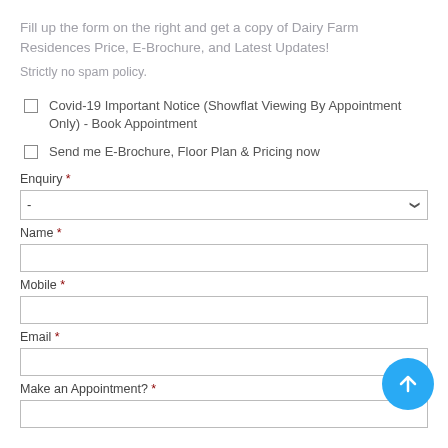Fill up the form on the right and get a copy of Dairy Farm Residences Price, E-Brochure, and Latest Updates!
Strictly no spam policy.
Covid-19 Important Notice (Showflat Viewing By Appointment Only) - Book Appointment
Send me E-Brochure, Floor Plan & Pricing now
Enquiry *
Name *
Mobile *
Email *
Make an Appointment? *